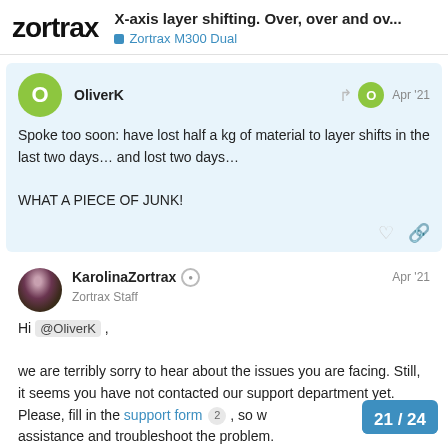zortrax — X-axis layer shifting. Over, over and ov... — Zortrax M300 Dual
OliverK — Apr '21
Spoke too soon: have lost half a kg of material to layer shifts in the last two days… and lost two days…

WHAT A PIECE OF JUNK!
KarolinaZortrax — Zortrax Staff — Apr '21
Hi @OliverK ,

we are terribly sorry to hear about the issues you are facing. Still, it seems you have not contacted our support department yet. Please, fill in the support form 2 , so w... assistance and troubleshoot the problem.
21 / 24